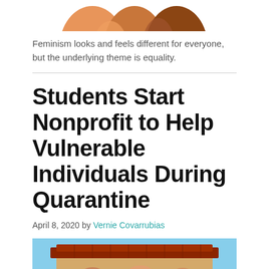[Figure (illustration): Partial illustration of figures, showing colorful abstract human silhouettes in orange and brown tones, cropped at top of page]
Feminism looks and feels different for everyone, but the underlying theme is equality.
Students Start Nonprofit to Help Vulnerable Individuals During Quarantine
April 8, 2020 by Vernie Covarrubias
[Figure (photo): Partial photo of a building with red-tiled roof against a blue sky, partially cropped at bottom of page]